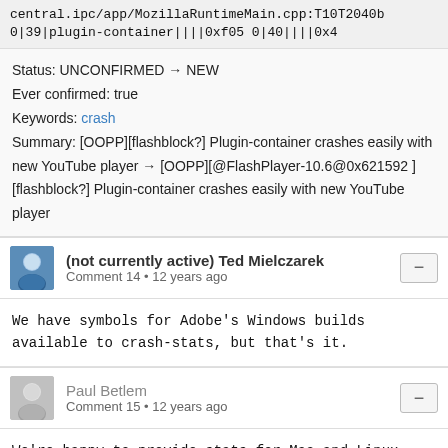central.ipc/app/MozillaRuntimeMain.cpp:T10T2040b 0|39|plugin-container||||0xf05 0|40||||0x4
Status: UNCONFIRMED → NEW
Ever confirmed: true
Keywords: crash
Summary: [OOPP][flashblock?] Plugin-container crashes easily with new YouTube player → [OOPP][@FlashPlayer-10.6@0x621592 ][flashblock?] Plugin-container crashes easily with new YouTube player
(not currently active) Ted Mielczarek
Comment 14 • 12 years ago
We have symbols for Adobe's Windows builds available to crash-stats, but that's it.
Paul Betlem
Comment 15 • 12 years ago
We're happy to provide stats for Mac and Linux as well. My apologies if this didn't happen.